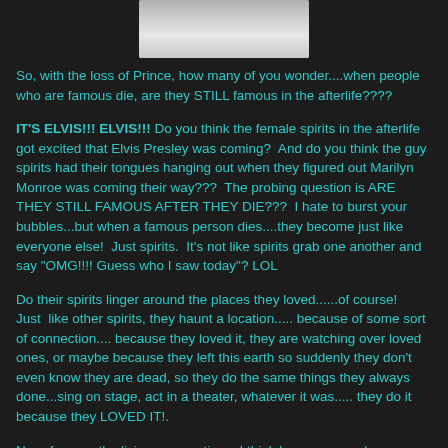[Figure (photo): Partial image visible at top, appears to be a person or face, cropped, light gray tones]
So, with the loss of Prince, how many of you wonder....when people who are famous die, are they STILL famous in the afterlife????
IT'S ELVIS!!! ELVIS!!! Do you think the female spirits in the afterlife got excited that Elvis Presley was coming?  And do you think the guy spirits had their tongues hanging out when they figured out Marilyn Monroe was coming their way???  The probing question is ARE THEY STILL FAMOUS AFTER THEY DIE???  I hate to burst your bubbles...but when a famous person dies....they become just like everyone else!  Just spirits.  It's not like spirits grab one another and say "OMG!!!! Guess who I saw today"? LOL
Do their spirits linger around the places they loved......of course!  Just  like other spirits, they haunt a location..... because of some sort of connection.... because they loved it, they are watching over loved ones, or maybe because they left this earth so suddenly they don't even know they are dead, so they do the same things they always done...sing on stage, act in a theater, whatever it was..... they do it because they LOVED IT!.
Now, for us....the living.....sometimes I think because people are soooo desperately wanting to see a celebrity.....even AFTER they die(for us the